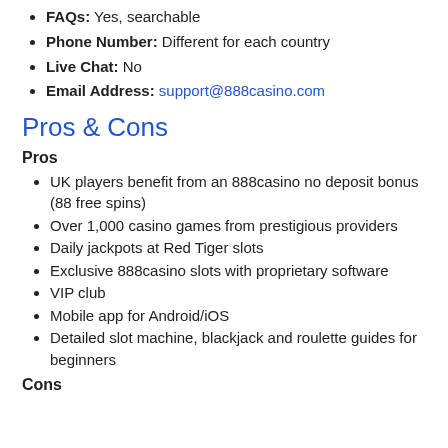FAQs: Yes, searchable
Phone Number: Different for each country
Live Chat: No
Email Address: support@888casino.com
Pros & Cons
Pros
UK players benefit from an 888casino no deposit bonus (88 free spins)
Over 1,000 casino games from prestigious providers
Daily jackpots at Red Tiger slots
Exclusive 888casino slots with proprietary software
VIP club
Mobile app for Android/iOS
Detailed slot machine, blackjack and roulette guides for beginners
Cons